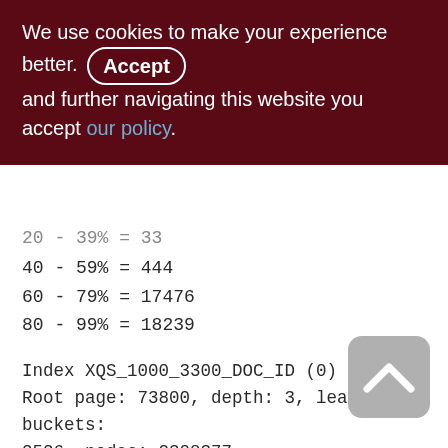We use cookies to make your experience better. By accepting and further navigating this website you accept our policy.
20 - 39% = 33
40 - 59% = 444
60 - 79% = 17476
80 - 99% = 18239
Index XQS_1000_3300_DOC_ID (0)
Root page: 73800, depth: 3, leaf buckets: 2526, nodes: 2308377
Average node length: 5.15, total dup: 2254238, max dup: 177
Average key length: 2.18, compression ratio: 4.13
Average prefix length: 8.84, average data